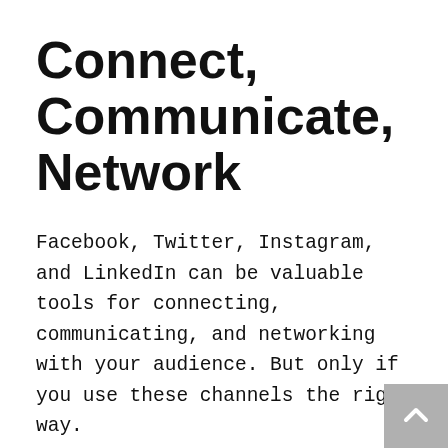Connect, Communicate, Network
Facebook, Twitter, Instagram, and LinkedIn can be valuable tools for connecting, communicating, and networking with your audience. But only if you use these channels the right way.
It’s not easy to gain followers, so you need to think twice about the content you share and post on social media. Before posting, remember these 5 tips on posting social